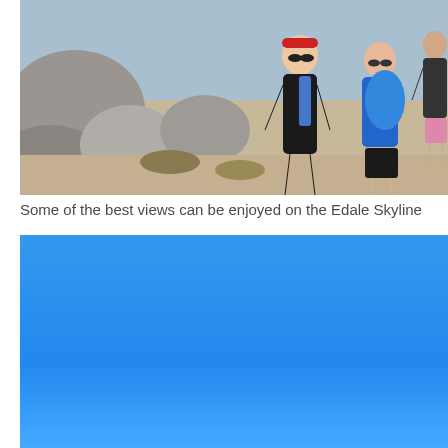[Figure (photo): Hikers walking on a rocky path with large boulders on the left. A woman in black outfit with red headband and sunglasses leads the group, followed by a person in blue carrying a large blue bag, and others in the background on a sunny day.]
Some of the best views can be enjoyed on the Edale Skyline
[Figure (photo): A clear bright blue sky photograph, predominantly solid blue with slight gradient variation.]